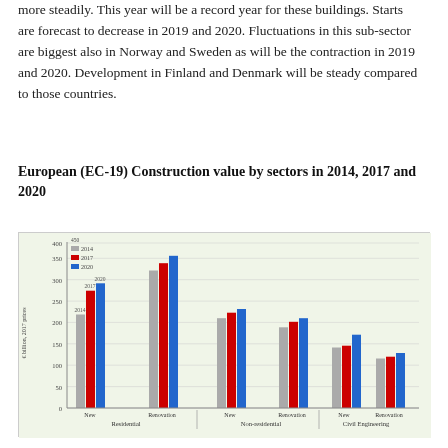more steadily. This year will be a record year for these buildings. Starts are forecast to decrease in 2019 and 2020. Fluctuations in this sub-sector are biggest also in Norway and Sweden as will be the contraction in 2019 and 2020. Development in Finland and Denmark will be steady compared to those countries.
European (EC-19) Construction value by sectors in 2014, 2017 and 2020
[Figure (grouped-bar-chart): European (EC-19) Construction value by sectors in 2014, 2017 and 2020]